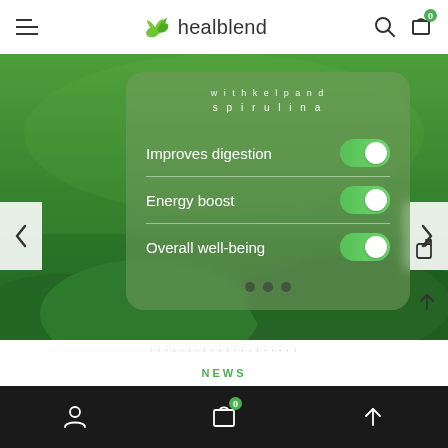[Figure (screenshot): Healblend website screenshot showing a navigation bar with hamburger menu, healblend logo with leaf icon, search and cart icons. Below is a hero banner with a green hills background and a frosted glass card showing toggle switches for 'Improves digestion', 'Energy boost', and 'Overall well-being' (all toggled on/green). Previous/next navigation arrows flank the hero. Right side icons include share and up arrow. Below hero is a NEWS section label and a bottom navigation bar with user, cart (badge 0), and up-arrow icons on a dark background.]
healblend
with kelp and spirulina
Improves digestion
Energy boost
Overall well-being
NEWS
User | Cart 0 | Up